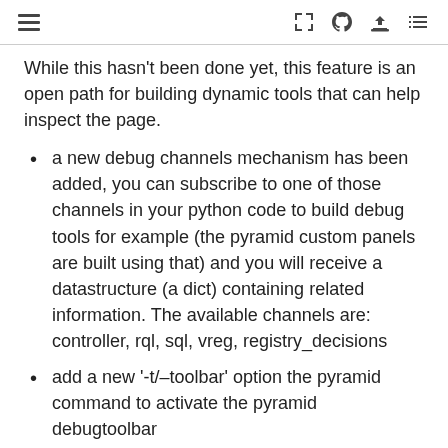While this hasn't been done yet, this feature is an open path for building dynamic tools that can help inspect the page.
a new debug channels mechanism has been added, you can subscribe to one of those channels in your python code to build debug tools for example (the pyramid custom panels are built using that) and you will receive a datastructure (a dict) containing related information. The available channels are: controller, rql, sql, vreg, registry_decisions
add a new '-t/–toolbar' option the pyramid command to activate the pyramid debugtoolbar
a series of pyramid debugtoolbar panels specifically made for CW, see bellow